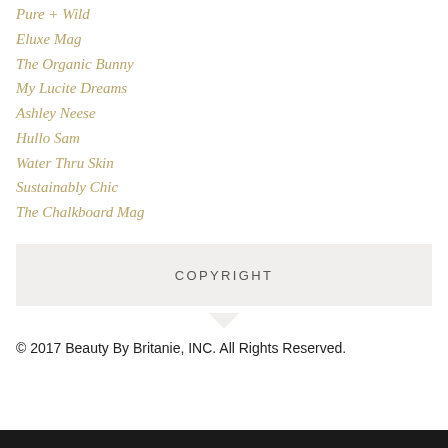Pure + Wild
Eluxe Mag
The Organic Bunny
My Lucite Dreams
Ashley Neese
Hullo Sam
Water Thru Skin
Sustainably Chic
The Chalkboard Mag
COPYRIGHT
© 2017 Beauty By Britanie, INC. All Rights Reserved.